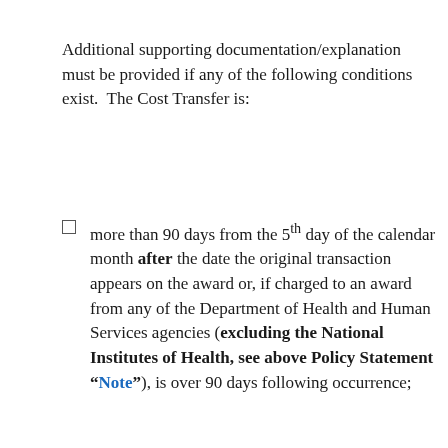Additional supporting documentation/explanation must be provided if any of the following conditions exist. The Cost Transfer is:
more than 90 days from the 5th day of the calendar month after the date the original transaction appears on the award or, if charged to an award from any of the Department of Health and Human Services agencies (excluding the National Institutes of Health, see above Policy Statement “Note”), is over 90 days following occurrence;